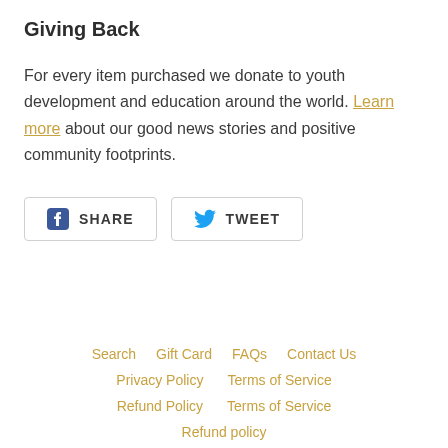Giving Back
For every item purchased we donate to youth development and education around the world. Learn more about our good news stories and positive community footprints.
[Figure (other): Social share buttons: Facebook SHARE and Twitter TWEET]
Search   Gift Card   FAQs   Contact Us   Privacy Policy   Terms of Service   Refund Policy   Terms of Service   Refund policy